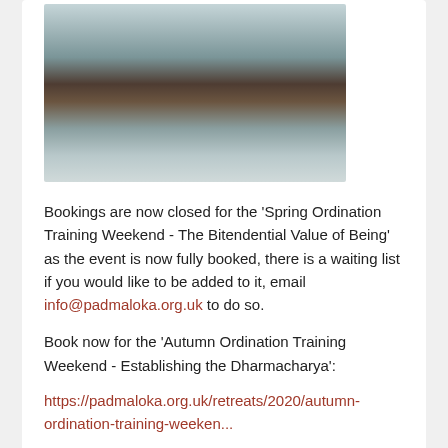[Figure (photo): Close-up photo of a rusty iron door latch or bolt on a weathered, paint-chipped wall]
Bookings are now closed for the 'Spring Ordination Training Weekend - The Bitendential Value of Being' as the event is now fully booked, there is a waiting list if you would like to be added to it, email info@padmaloka.org.uk to do so.
Book now for the 'Autumn Ordination Training Weekend - Establishing the Dharmacharya':
https://padmaloka.org.uk/retreats/2020/autumn-ordination-training-weeken...
Read more   Add new comment
New Talks by Padmavajra and Bodhinaga